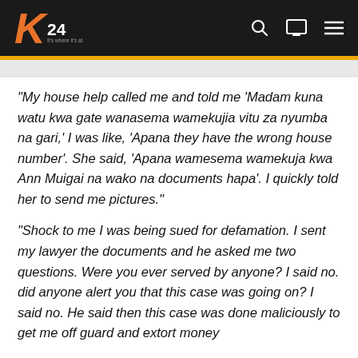K24 — It's where it's at
"My house help called me and told me 'Madam kuna watu kwa gate wanasema wamekujia vitu za nyumba na gari,' I was like, 'Apana they have the wrong house number'. She said, 'Apana wamesema wamekuja kwa Ann Muigai na wako na documents hapa'. I quickly told her to send me pictures."
"Shock to me I was being sued for defamation. I sent my lawyer the documents and he asked me two questions. Were you ever served by anyone? I said no. did anyone alert you that this case was going on? I said no. He said then this case was done maliciously to get me off guard and extort money